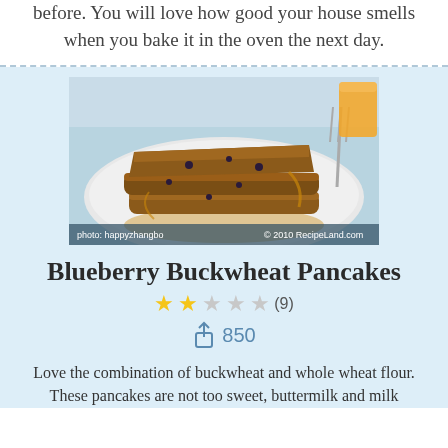before. You will love how good your house smells when you bake it in the oven the next day.
[Figure (photo): Blueberry buckwheat pancakes stacked on a white plate with syrup, fork and orange juice in background. Photo credit: happyzhangbo. © 2010 RecipeLand.com]
Blueberry Buckwheat Pancakes
★★☆☆☆ (9)
850
Love the combination of buckwheat and whole wheat flour. These pancakes are not too sweet, buttermilk and milk